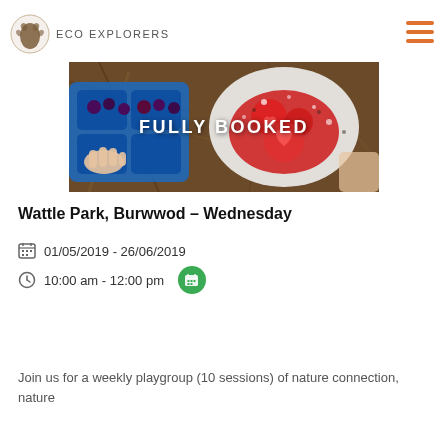ECO EXPLORERS
[Figure (photo): Child's hand playing with red berries and a white plate with red liquid/paint on mulch background, overlaid with text FULLY BOOKED]
Wattle Park, Burwwod – Wednesday
01/05/2019 - 26/06/2019
10:00 am - 12:00 pm
Join us for a weekly playgroup (10 sessions) of nature connection, nature